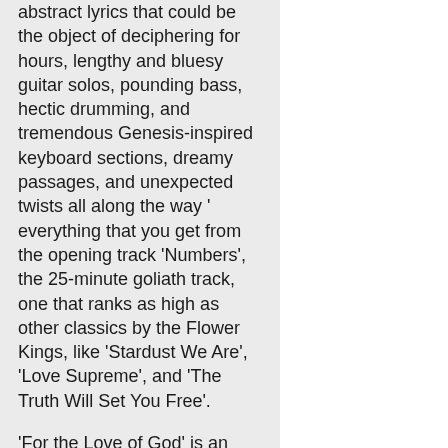abstract lyrics that could be the object of deciphering for hours, lengthy and bluesy guitar solos, pounding bass, hectic drumming, and tremendous Genesis-inspired keyboard sections, dreamy passages, and unexpected twists all along the way ' everything that you get from the opening track 'Numbers', the 25-minute goliath track, one that ranks as high as other classics by the Flower Kings, like 'Stardust We Are', 'Love Supreme', and 'The Truth Will Set You Free'.
'For the Love of God' is an uplifting and melodic track, it depicts perfectly the more pastoral side of the band that has little hints of Camel or Yes.
'Pandemonium' is among the highlights of the album, a song where every note works perfectly and not a single second sounds wasted. Built around Stolt's acrobatic guitar playing, the peculiar verses he sings through the vocoder, the catchy chorus and Bodin scratching the